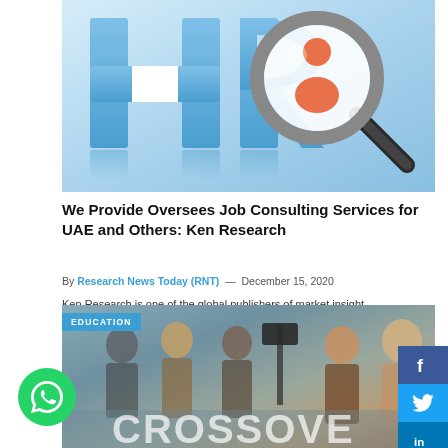[Figure (illustration): HR concept image with large blue HR letters, magnifying glass with person icon, on a light blue gradient background]
We Provide Oversees Job Consulting Services for UAE and Others: Ken Research
By Research News Today (RNT) — December 15, 2020
Ken Research is one of the global publishers of market insight, value, and economy reports that...
[Figure (photo): Group of people around a table working together, with EDUCATION badge overlay and CROSSOVER text at the bottom. WhatsApp button overlaid at bottom-left.]